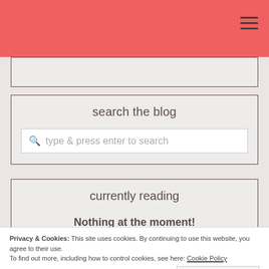search the blog
type & press enter to search
currently reading
Nothing at the moment!
Privacy & Cookies: This site uses cookies. By continuing to use this website, you agree to their use. To find out more, including how to control cookies, see here: Cookie Policy
Close and accept
39%